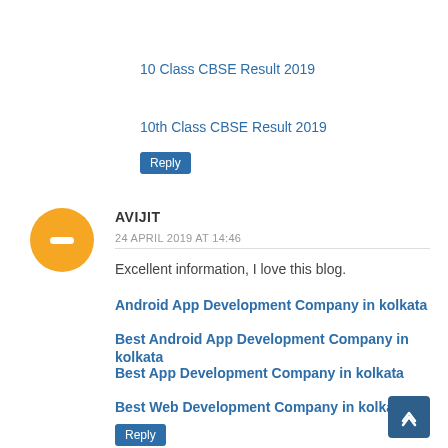10 Class CBSE Result 2019
10th Class CBSE Result 2019
Reply
AVIJIT
24 APRIL 2019 AT 14:46
Excellent information, I love this blog.
Android App Development Company in kolkata
Best Android App Development Company in kolkata
Best App Development Company in kolkata
Best Web Development Company in kolkata
Reply